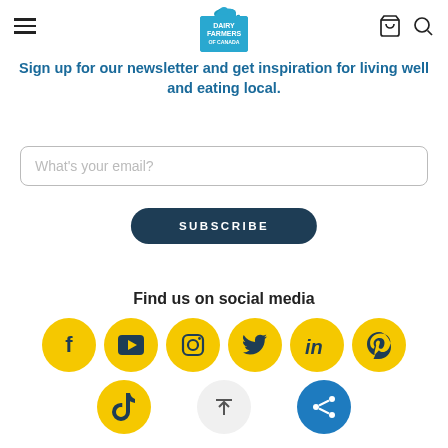Dairy Farmers of Canada — navigation header with hamburger menu, logo, cart, and search icons
Sign up for our newsletter and get inspiration for living well and eating local.
What's your email?
SUBSCRIBE
Find us on social media
[Figure (infographic): Row of social media icons (Facebook, YouTube, Instagram, Twitter, LinkedIn, Pinterest) on yellow circles, plus TikTok on yellow circle and a share button on blue circle, with scroll-to-top button.]